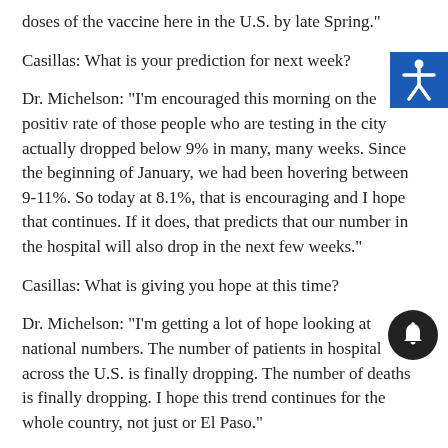doses of the vaccine here in the U.S. by late Spring."
Casillas: What is your prediction for next week?
Dr. Michelson: "I'm encouraged this morning on the positiv rate of those people who are testing in the city actually dropped below 9% in many, many weeks. Since the beginning of January, we had been hovering between 9-11%. So today at 8.1%, that is encouraging and I hope that continues. If it does, that predicts that our number in the hospital will also drop in the next few weeks."
Casillas: What is giving you hope at this time?
Dr. Michelson: "I'm getting a lot of hope looking at national numbers. The number of patients in hospital across the U.S. is finally dropping. The number of deaths is finally dropping. I hope this trend continues for the whole country, not just or El Paso."
Casillas: What is your message to the Borderland?